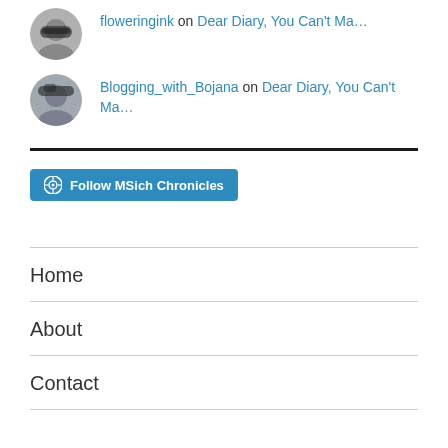floweringink on Dear Diary, You Can't Ma…
Blogging_with_Bojana on Dear Diary, You Can't Ma…
Follow MSich Chronicles
Home
About
Contact